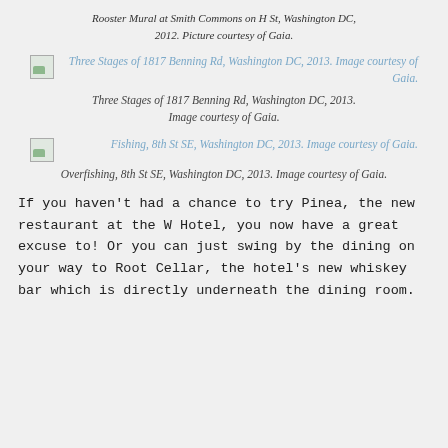Rooster Mural at Smith Commons on H St, Washington DC, 2012. Picture courtesy of Gaia.
[Figure (photo): Broken/missing image placeholder for Three Stages of 1817 Benning Rd, Washington DC, 2013]
Three Stages of 1817 Benning Rd, Washington DC, 2013. Image courtesy of Gaia.
[Figure (photo): Broken/missing image placeholder for Fishing, 8th St SE, Washington DC, 2013]
Overfishing, 8th St SE, Washington DC, 2013. Image courtesy of Gaia.
If you haven't had a chance to try Pinea, the new restaurant at the W Hotel, you now have a great excuse to! Or you can just swing by the dining on your way to Root Cellar, the hotel's new whiskey bar which is directly underneath the dining room.